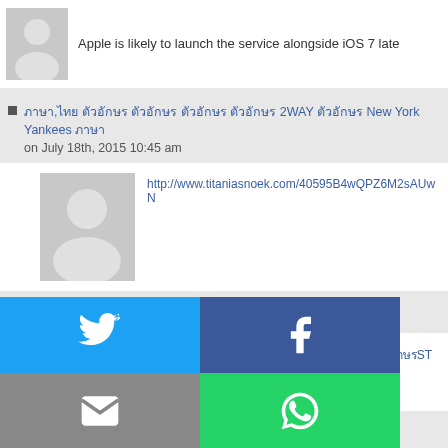[Figure (screenshot): Top partial comment with avatar and text: Apple is likely to launch the service alongside iOS 7 late]
Thai text 2WAY New York Yankees on July 18th, 2015 10:45 am
[Figure (screenshot): Comment avatar with link: http://www.titaniasnoek.com/40595B4wQPZ6M2sAUwN]
Anonymous on July 19th, 2015 5:32 am
[Figure (screenshot): Comment avatar with Thai text WATERMAN ST 1-]
[Figure (infographic): Social share buttons overlay: Twitter (blue), Facebook (dark blue), Email (gray), WhatsApp (green), SMS (blue), Other/share (green)]